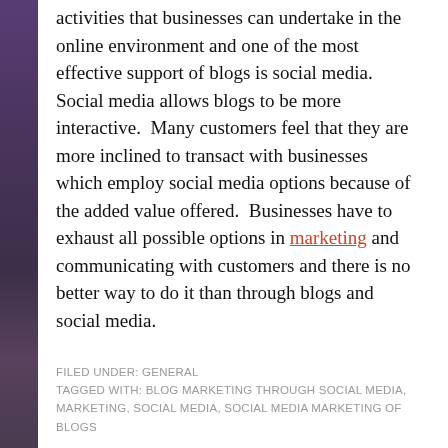activities that businesses can undertake in the online environment and one of the most effective support of blogs is social media.  Social media allows blogs to be more interactive.  Many customers feel that they are more inclined to transact with businesses which employ social media options because of the added value offered.  Businesses have to exhaust all possible options in marketing and communicating with customers and there is no better way to do it than through blogs and social media.
FILED UNDER: GENERAL
TAGGED WITH: BLOG MARKETING THROUGH SOCIAL MEDIA, MARKETING, SOCIAL MEDIA, SOCIAL MEDIA MARKETING OF BLOGS
Search this website